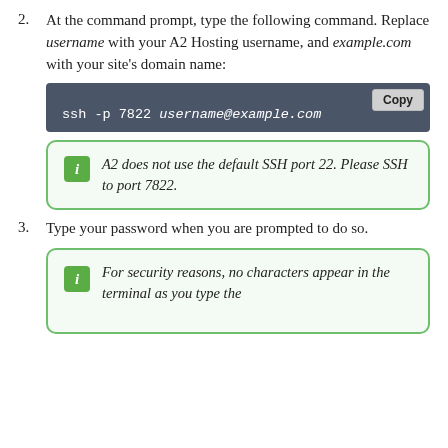2. At the command prompt, type the following command. Replace username with your A2 Hosting username, and example.com with your site's domain name:
[Figure (screenshot): Dark blue-grey code block showing: ssh -p 7822 username@example.com with a Copy button in the top right corner]
A2 does not use the default SSH port 22. Please SSH to port 7822.
3. Type your password when you are prompted to do so.
For security reasons, no characters appear in the terminal as you type the